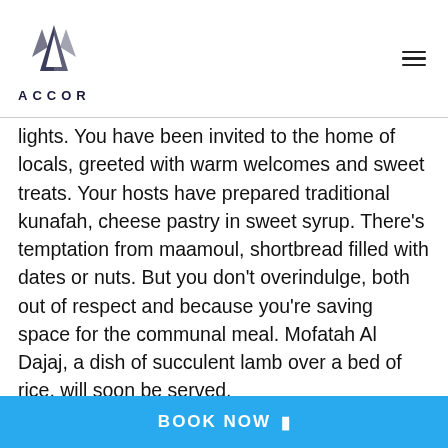ACCOR
lights. You have been invited to the home of locals, greeted with warm welcomes and sweet treats. Your hosts have prepared traditional kunafah, cheese pastry in sweet syrup. There’s temptation from maamoul, shortbread filled with dates or nuts. But you don't overindulge, both out of respect and because you’re saving space for the communal meal. Mofatah Al Dajaj, a dish of succulent lamb over a bed of rice, will soon be served.
After the meal, the family gathers. With wide-eyed anticipation, children await the telling of Mohamed (PBUH)’s fateful journey. His glorious tale is told. The mood is light
BOOK NOW ►